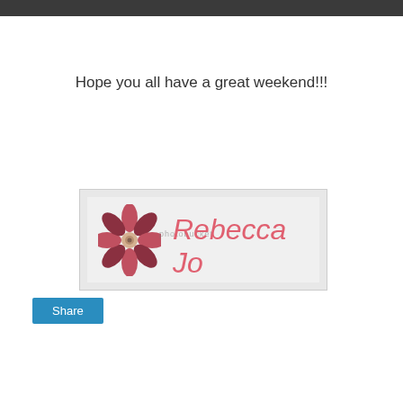Hope you all have a great weekend!!!
[Figure (logo): Signature image with a pink flower and 'Rebecca Jo' written in pink cursive script on a light grey background, with a faint photobucket watermark.]
Share